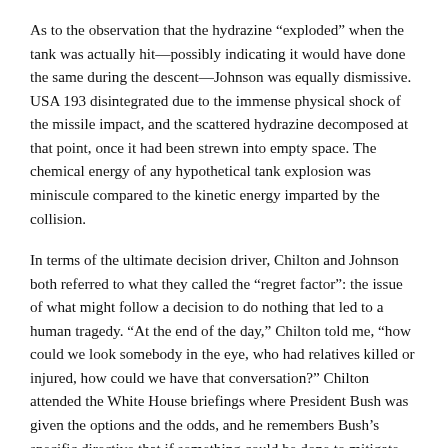As to the observation that the hydrazine “exploded” when the tank was actually hit—possibly indicating it would have done the same during the descent—Johnson was equally dismissive. USA 193 disintegrated due to the immense physical shock of the missile impact, and the scattered hydrazine decomposed at that point, once it had been strewn into empty space. The chemical energy of any hypothetical tank explosion was miniscule compared to the kinetic energy imparted by the collision.
In terms of the ultimate decision driver, Chilton and Johnson both referred to what they called the “regret factor”: the issue of what might follow a decision to do nothing that led to a human tragedy. “At the end of the day,” Chilton told me, “how could we look somebody in the eye, who had relatives killed or injured, how could we have that conversation?” Chilton attended the White House briefings where President Bush was given the options and the odds, and he remembers Bush’s specific directive that if something could be done to mitigate the risk to human life, it needed to be done.